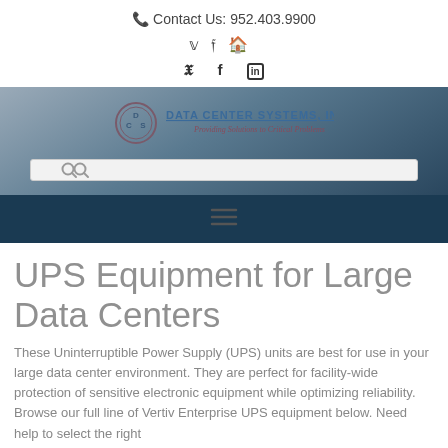Contact Us: 952.403.9900
[Figure (logo): Data Center Systems, Inc. logo with circle DSI emblem and tagline 'Providing Solutions to Critical Problems']
UPS Equipment for Large Data Centers
These Uninterruptible Power Supply (UPS) units are best for use in your large data center environment. They are perfect for facility-wide protection of sensitive electronic equipment while optimizing reliability. Browse our full line of Vertiv Enterprise UPS equipment below. Need help to select the right